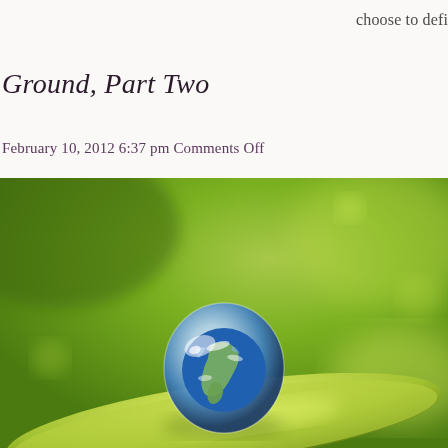choose to defi
Ground, Part Two
February 10, 2012 6:37 pm Comments Off
[Figure (photo): A macro photograph of a water droplet on a green leaf, with the Earth (globe showing North and South America) reflected/embedded inside the droplet. The background is a soft gradient of green shades.]